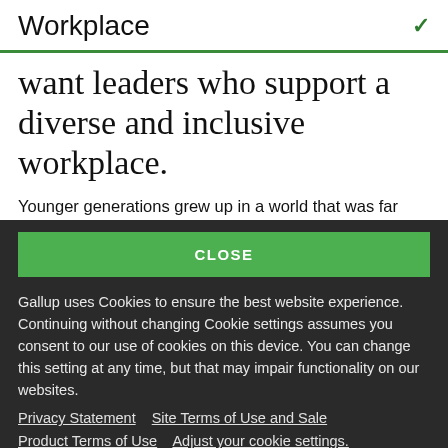Workplace
want leaders who support a diverse and inclusive workplace.
Younger generations grew up in a world that was far
CLOSE
Gallup uses Cookies to ensure the best website experience. Continuing without changing Cookie settings assumes you consent to our use of cookies on this device. You can change this setting at any time, but that may impair functionality on our websites.
Privacy Statement   Site Terms of Use and Sale
Product Terms of Use   Adjust your cookie settings.